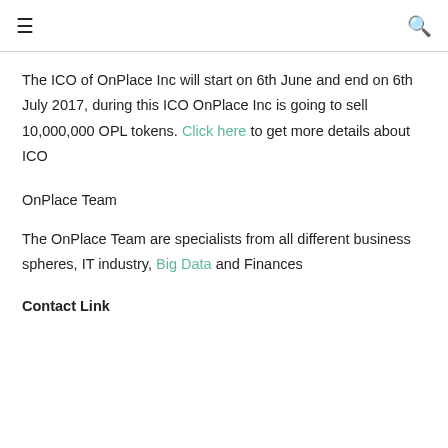≡  🔍
The ICO of OnPlace Inc will start on 6th June and end on 6th July 2017, during this ICO OnPlace Inc is going to sell 10,000,000 OPL tokens. Click here to get more details about ICO
OnPlace Team
The OnPlace Team are specialists from all different business spheres, IT industry, Big Data and Finances
Contact Link